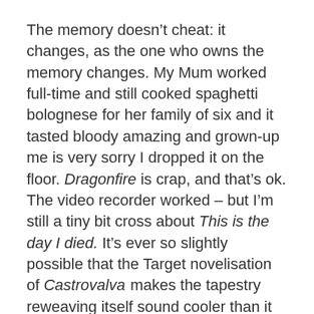The memory doesn't cheat: it changes, as the one who owns the memory changes. My Mum worked full-time and still cooked spaghetti bolognese for her family of six and it tasted bloody amazing and grown-up me is very sorry I dropped it on the floor. Dragonfire is crap, and that's ok. The video recorder worked – but I'm still a tiny bit cross about This is the day I died. It's ever so slightly possible that the Target novelisation of Castrovalva makes the tapestry reweaving itself sound cooler than it looks. Shh.
We could be here a while. But one thing never changes.
Our lives are different to anybody else's. Nobody in the universe can do what we're doing.